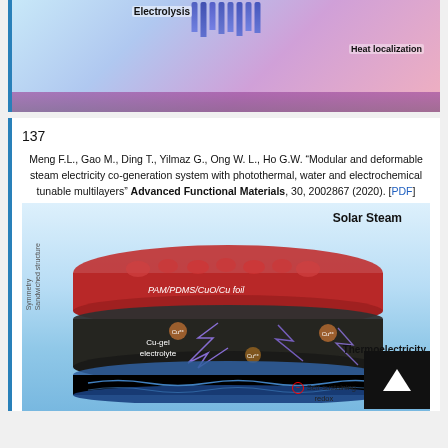[Figure (illustration): Top portion of an electrolysis illustration showing blue rod-like electrodes above a pink/purple surface with 'Electrolysis' and 'Heat localization' labels]
137 Meng F.L., Gao M., Ding T., Yilmaz G., Ong W. L., Ho G.W. "Modular and deformable steam electricity co-generation system with photothermal, water and electrochemical tunable multilayers" Advanced Functional Materials, 30, 2002867 (2020). [PDF]
[Figure (illustration): Scientific diagram showing a layered structure device for solar steam and thermoelectricity generation. Labels include: Solar Steam, Symmetry Sandwiched structure, PAM/PDMS/CuO/Cu foil, Cu-gel electrolyte, Thermoelectricity, Self-sustaining redox. Navigation arrow button visible in bottom right.]